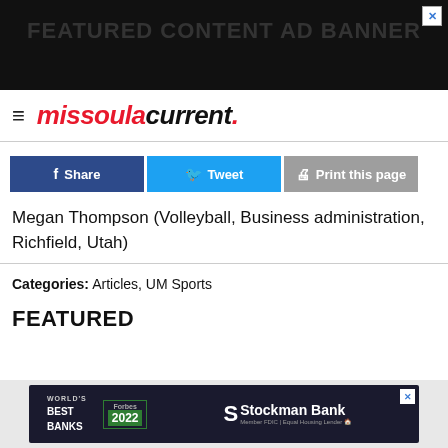[Figure (other): Top advertisement banner with dark background]
missoula current.
[Figure (other): Social sharing buttons: Share (Facebook), Tweet (Twitter), Print this page]
Megan Thompson (Volleyball, Business administration, Richfield, Utah)
Categories: Articles, UM Sports
FEATURED
[Figure (other): Bottom advertisement: Stockman Bank - World's Best Banks Forbes 2022]